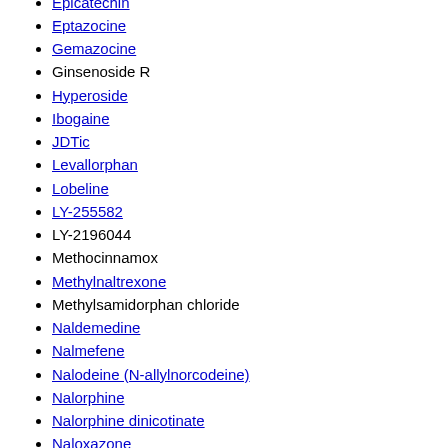Epicatechin
Eptazocine
Gemazocine
Ginsenoside R
Hyperoside
Ibogaine
JDTic
Levallorphan
Lobeline
LY-255582
LY-2196044
Methocinnamox
Methylnaltrexone
Methylsamidorphan chloride
Naldemedine
Nalmefene
Nalodeine (N-allylnorcodeine)
Nalorphine
Nalorphine dinicotinate
Naloxazone
Naloxegol
Naloxol
Naloxonazine
Naloxone
Naltroxazone